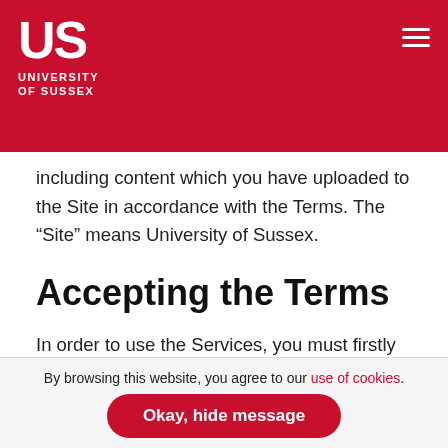University of Sussex
including content which you have uploaded to the Site in accordance with the Terms. The "Site" means University of Sussex.
Accepting the Terms
In order to use the Services, you must firstly agree to the Terms. By using the Site, you confirm that you accept the Terms and that you agree to comply with them. If you do not agree to the Terms, you must not use the Site or otherwise use the Services. You can
By browsing this website, you agree to our use of cookies.
Okay, hide message